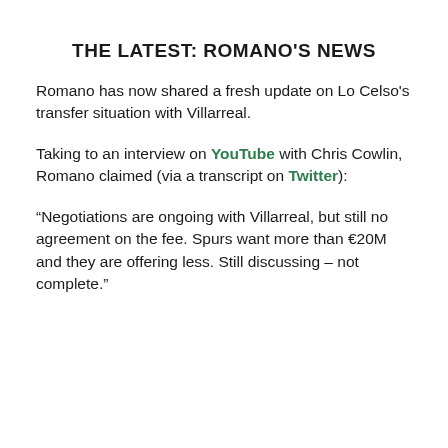THE LATEST: ROMANO'S NEWS
Romano has now shared a fresh update on Lo Celso's transfer situation with Villarreal.
Taking to an interview on YouTube with Chris Cowlin, Romano claimed (via a transcript on Twitter):
“Negotiations are ongoing with Villarreal, but still no agreement on the fee. Spurs want more than €20M and they are offering less. Still discussing – not complete.”